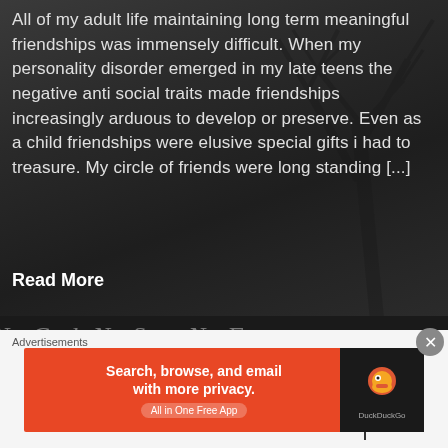All of my adult life maintaining long term meaningful friendships was immensely difficult. When my personality disorder emerged in my late teens the negative anti social traits made friendships increasingly arduous to develop or preserve. Even as a child friendships were elusive special gifts i had to treasure. My circle of friends were long standing [...]
Read More
No God, No Sun, No Future
Nowhere
Advertisements
[Figure (screenshot): DuckDuckGo advertisement banner: orange background with text 'Search, browse, and email with more privacy. All in One Free App' and DuckDuckGo logo on dark background]